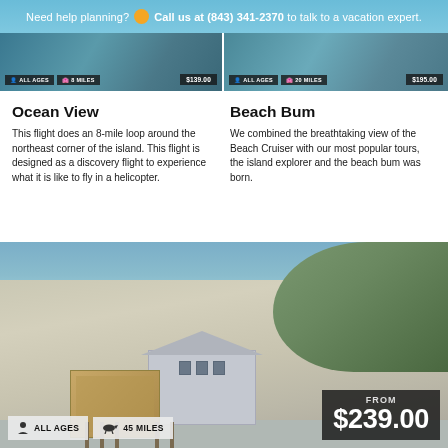Need help planning? Call us at (843) 341-2370 to talk to a vacation expert.
[Figure (photo): Two aerial helicopter tour images side by side with ALL AGES and miles badges, and price overlays]
Ocean View
This flight does an 8-mile loop around the northeast corner of the island. This flight is designed as a discovery flight to experience what it is like to fly in a helicopter.
Beach Bum
We combined the breathtaking view of the Beach Cruiser with our most popular tours, the island explorer and the beach bum was born.
[Figure (photo): Aerial photo of a beach building on stilts/pier surrounded by sand and marsh, with ALL AGES, 45 MILES badges and FROM $239.00 price overlay]